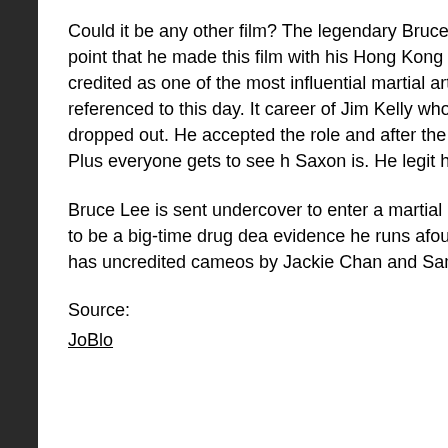Could it be any other film? The legendary Bruce Lee had to fame was getting so big by this point that he made this film with his Hong Kong production company Concord Productions credited as one of the most influential martial arts films of all time and choreography are constantly referenced to this day. It launched the career of Jim Kelly who was actually a last-minute replacement who dropped out. He accepted the role and after the film's success got a picture deal with Warner Bros. Plus everyone gets to see how badass John Saxon is. He legit had a black belt in both Judo and Shotokan.
Bruce Lee is sent undercover to enter a martial arts tournament hosted by a rich businessman who is thought to be a big-time drug dealer. While gathering evidence he runs afoul of his henchmen and has to fight to survive. The film also has uncredited cameos by Jackie Chan and Sammo Hung early in the film.
Source:
JoBlo